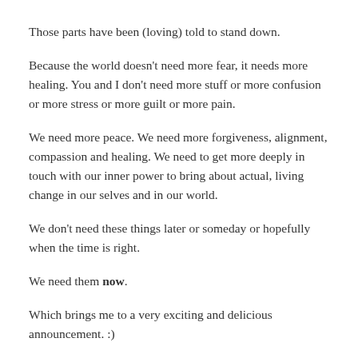Those parts have been (loving) told to stand down.
Because the world doesn't need more fear, it needs more healing. You and I don't need more stuff or more confusion or more stress or more guilt or more pain.
We need more peace. We need more forgiveness, alignment, compassion and healing. We need to get more deeply in touch with our inner power to bring about actual, living change in our selves and in our world.
We don't need these things later or someday or hopefully when the time is right.
We need them now.
Which brings me to a very exciting and delicious announcement. :)